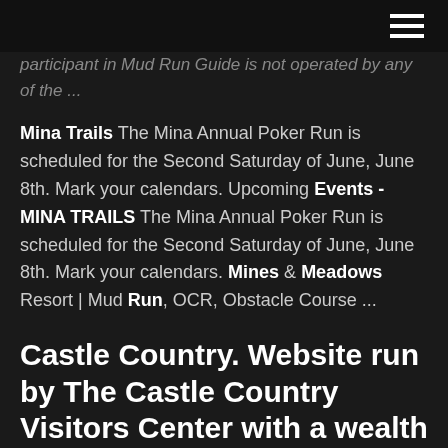participant in Mud Run Guide is not operated by any of the ... Mina Trails The Mina Annual Poker Run is scheduled for the Second Saturday of June, June 8th. Mark your calendars. Upcoming Events - MINA TRAILS The Mina Annual Poker Run is scheduled for the Second Saturday of June, June 8th. Mark your calendars. Mines & Meadows Resort | Mud Run, OCR, Obstacle Course ...
Castle Country. Website run by The Castle Country Visitors Center with a wealth of information on the Carbon County area. Carbon Motorcycle Museum